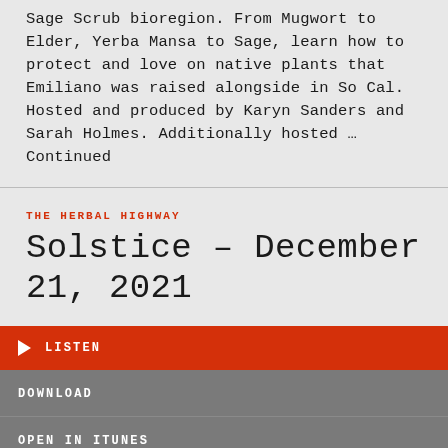Sage Scrub bioregion. From Mugwort to Elder, Yerba Mansa to Sage, learn how to protect and love on native plants that Emiliano was raised alongside in So Cal. Hosted and produced by Karyn Sanders and Sarah Holmes. Additionally hosted ... Continued
THE HERBAL HIGHWAY
Solstice – December 21, 2021
▶ LISTEN
DOWNLOAD
OPEN IN ITUNES